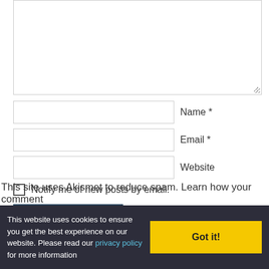[Figure (screenshot): Large textarea input box for comment text, with resize handle in bottom-right corner]
Name *
Email *
Website
Notify me of new posts by email.
Post Comment
This site uses Akismet to reduce spam. Learn how your comment
This website uses cookies to ensure you get the best experience on our website. Please read our privacy policy for more information
Got it!